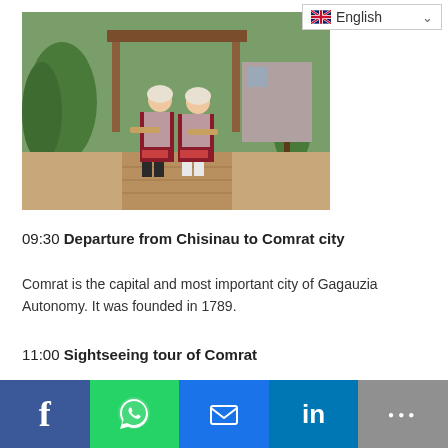[Figure (photo): Two women in traditional Gagauzian folk costumes (red and white embroidered dresses with aprons and headscarves) walking along a paved path through a garden with trees and a wooden gate structure in the background.]
09:30 Departure from Chisinau to Comrat city
Comrat is the capital and most important city of Gagauzia Autonomy. It was founded in 1789.
11:00 Sightseeing tour of Comrat